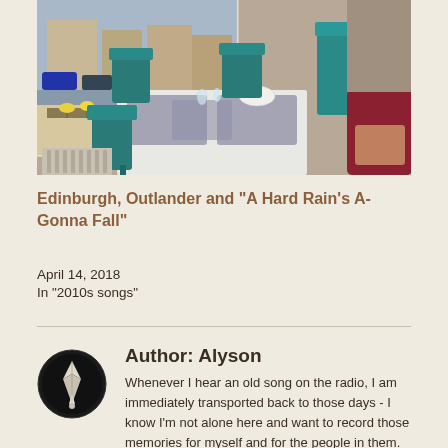[Figure (photo): Indoor dining area near a window with teal/green folding chairs around a white table, placemats on table, yellow flowers visible through window outside, red chair partially visible on right]
Edinburgh, Outlander and “A Hard Rain’s A-Gonna Fall”
April 14, 2018
In "2010s songs"
Author: Alyson
Whenever I hear an old song on the radio, I am immediately transported back to those days - I know I'm not alone here and want to record those memories for myself and for the people in them. 50